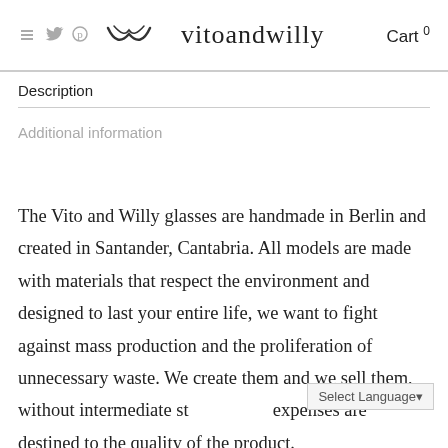vitoandwilly  Cart 0
Description
Additional information
The Vito and Willy glasses are handmade in Berlin and created in Santander, Cantabria. All models are made with materials that respect the environment and designed to last your entire life, we want to fight against mass production and the proliferation of unnecessary waste. We create them and we sell them, without intermediate st... expenses are destined to the quality of the product.